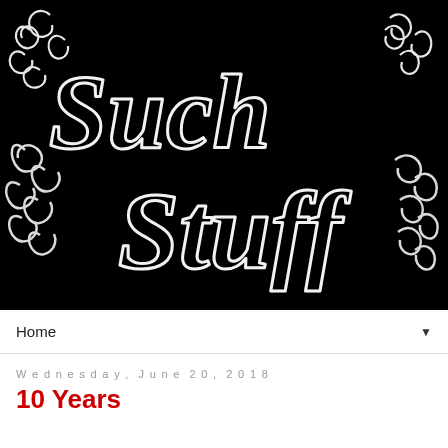[Figure (illustration): Black background with white chalk-style handwritten text reading 'Such Stuff' with decorative swirling flourishes and curls around the letters]
Home ▼
Wednesday, June 20, 2018
10 Years